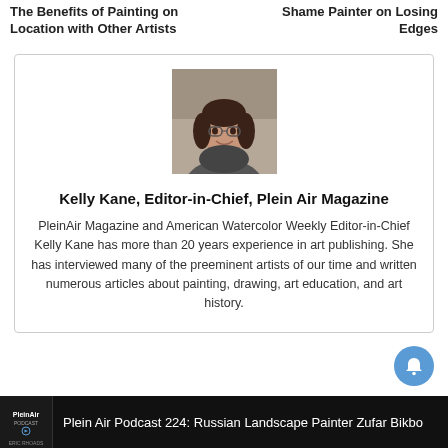The Benefits of Painting on Location with Other Artists | Shame Painter on Losing Edges
[Figure (photo): Portrait photo of Kelly Kane, a woman with dark hair and glasses, smiling, wearing a dark patterned top, in front of bookshelves.]
Kelly Kane, Editor-in-Chief, Plein Air Magazine
PleinAir Magazine and American Watercolor Weekly Editor-in-Chief Kelly Kane has more than 20 years experience in art publishing. She has interviewed many of the preeminent artists of our time and written numerous articles about painting, drawing, art education, and art history.
Plein Air Podcast 224: Russian Landscape Painter Zufar Bikbo